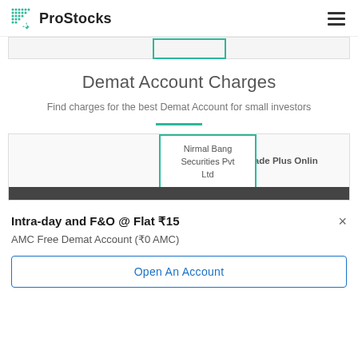ProStocks
Demat Account Charges
Find charges for the best Demat Account for small investors
| Nirmal Bang Securities Pvt Ltd | Trade Plus Online |
| --- | --- |
Intra-day and F&O @ Flat ₹15
AMC Free Demat Account (₹0 AMC)
Open An Account